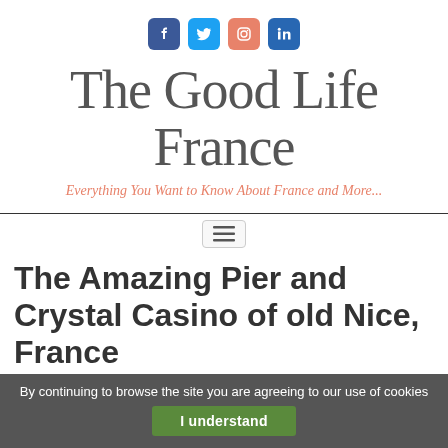[Figure (logo): Social media icons: Facebook (blue), Twitter (light blue), Instagram (salmon/pink), LinkedIn (blue) as rounded square icon buttons]
The Good Life France
Everything You Want to Know About France and More...
[Figure (other): Hamburger menu toggle button with three horizontal lines]
The Amazing Pier and Crystal Casino of old Nice, France
By continuing to browse the site you are agreeing to our use of cookies
I understand